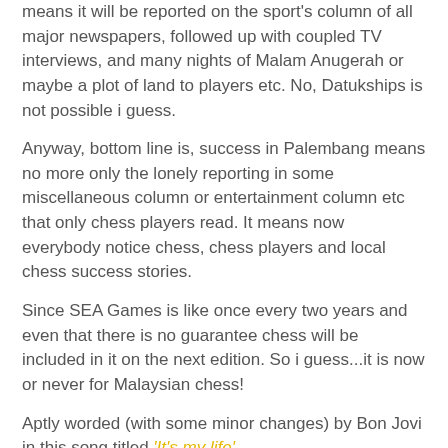means it will be reported on the sport's column of all major newspapers, followed up with coupled TV interviews, and many nights of Malam Anugerah or maybe a plot of land to players etc. No, Datukships is not possible i guess.
Anyway, bottom line is, success in Palembang means no more only the lonely reporting in some miscellaneous column or entertainment column etc that only chess players read. It means now everybody notice chess, chess players and local chess success stories.
Since SEA Games is like once every two years and even that there is no guarantee chess will be included in it on the next edition. So i guess...it is now or never for Malaysian chess!
Aptly worded (with some minor changes) by Bon Jovi in this song titled 'It's my life'
[Figure (screenshot): YouTube video thumbnail showing Bon Jovi - It's My L... with a circular thumbnail and three-dot menu icon on dark background]